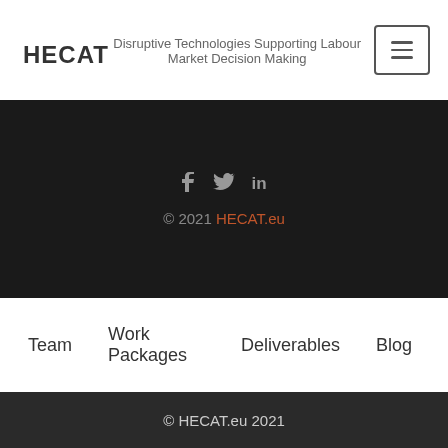HECAT
Disruptive Technologies Supporting Labour Market Decision Making
[Figure (other): Hamburger menu button icon (three horizontal lines) in a rounded rectangle border]
[Figure (other): Dark background section with social media icons (Facebook, Twitter, LinkedIn) and copyright text: © 2021 HECAT.eu]
Team
Work Packages
Deliverables
Blog
© HECAT.eu 2021